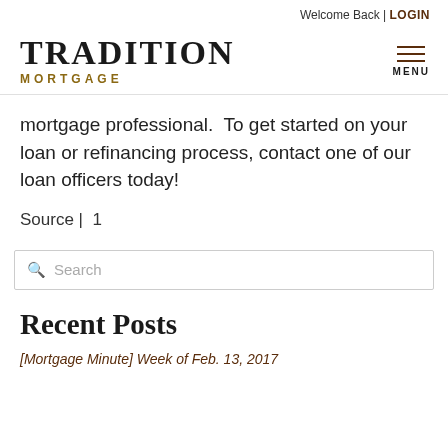Welcome Back | LOGIN
[Figure (logo): Tradition Mortgage logo with hamburger menu icon and MENU label]
mortgage professional.  To get started on your loan or refinancing process, contact one of our loan officers today!
Source |  1
[Figure (other): Search input box with magnifying glass icon and placeholder text 'Search']
Recent Posts
[Mortgage Minute] Week of Feb. 13, 2017